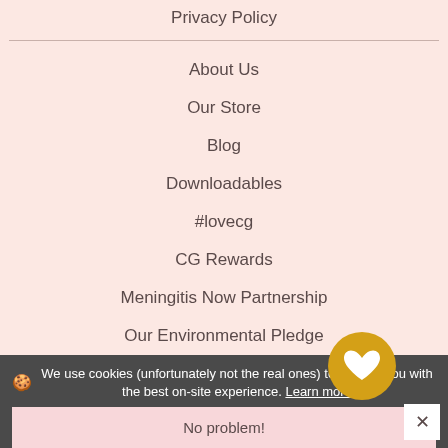Privacy Policy
About Us
Our Store
Blog
Downloadables
#lovecg
CG Rewards
Meningitis Now Partnership
Our Environmental Pledge
🍪 We use cookies (unfortunately not the real ones) to provide you with the best on-site experience. Learn more
No problem!